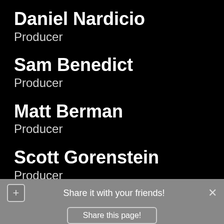Daniel Nardicio
Producer
Sam Benedict
Producer
Matt Berman
Producer
Scott Gorenstein
Producer
Share it with your friends! Share this page!